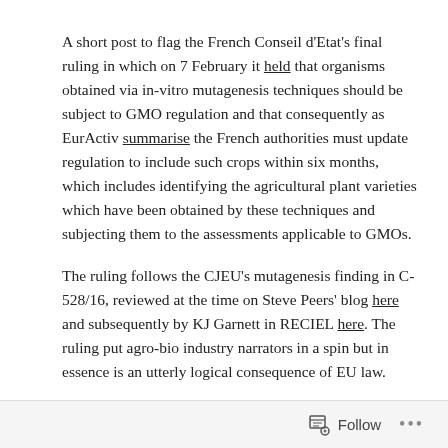A short post to flag the French Conseil d'Etat's final ruling in which on 7 February it held that organisms obtained via in-vitro mutagenesis techniques should be subject to GMO regulation and that consequently as EurActiv summarise the French authorities must update regulation to include such crops within six months, which includes identifying the agricultural plant varieties which have been obtained by these techniques and subjecting them to the assessments applicable to GMOs.
The ruling follows the CJEU's mutagenesis finding in C-528/16, reviewed at the time on Steve Peers' blog here and subsequently by KJ Garnett in RECIEL here. The ruling put agro-bio industry narrators in a spin but in essence is an utterly logical consequence of EU law.
Follow ...